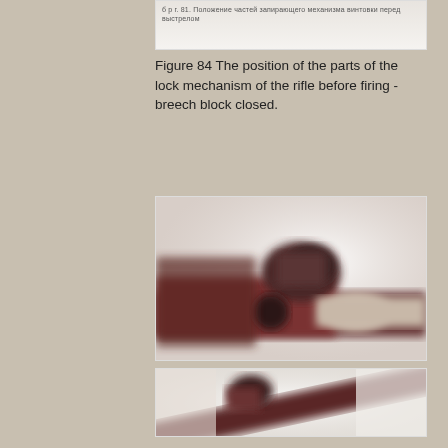[Figure (photo): Partial view of rifle lock mechanism, top portion cropped from previous page, with Cyrillic text partially visible at top]
Figure 84 The position of the parts of the lock mechanism of the rifle before firing - breech block closed.
[Figure (photo): Close-up photograph of the lock mechanism of a rifle with breech block closed, showing mechanical parts in dark reddish-brown metal tones, blurred close-up view]
[Figure (photo): Second close-up photograph of the rifle lock mechanism parts, showing a diagonal view of metal components against white background, similar mechanical detail]